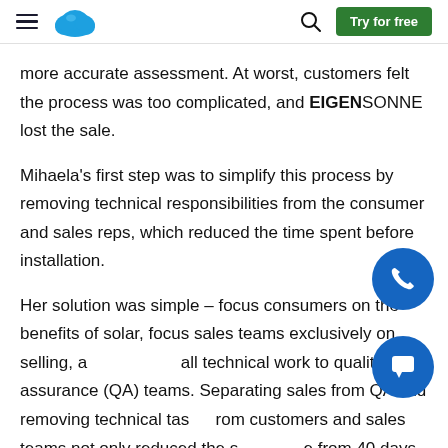Salesforce navigation bar with hamburger menu, Salesforce cloud logo, search icon, and Try for free button
more accurate assessment. At worst, customers felt the process was too complicated, and EIGENSONNE lost the sale.
Mihaela's first step was to simplify this process by removing technical responsibilities from the consumer and sales reps, which reduced the time spent before installation.
Her solution was simple – focus consumers on the benefits of solar, focus sales teams exclusively on selling, and delegate all technical work to quality assurance (QA) teams. Separating sales from QA and removing technical tasks from customers and sales teams not only reduced the sales cycle from 40 days to 14 days, but it also opened the door to